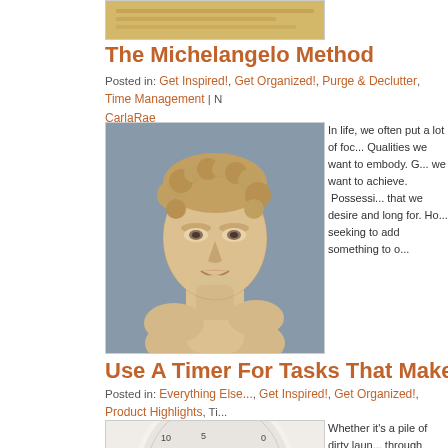[Figure (photo): Partial top image, cropped at top of page, appears to be a sticky note or document]
The Michelangelo Method
Posted in: Get Inspired!, Get Organized!, Purge & Declutter, Time Management | N... CarlaRae
[Figure (photo): Photograph of Michelangelo's David statue, close-up of face and upper torso]
In life, we often put a lot of foc... Qualities we want to embody. G... we want to achieve. Possessi... that we desire and long for. Ho... seeking to add something to o...
Use A Timer For Tasks That Make You Cringe...
Posted in: Everything Else..., Get Inspired!, Get Organized!, Product Highlights, Ti... at 11:45 pm , by CarlaRae
[Figure (photo): Photograph of a white kitchen/mechanical timer]
Whether it's a pile of dirty laun... through when you get home fr... insurmountable tasks can para... want to do list that you've b...